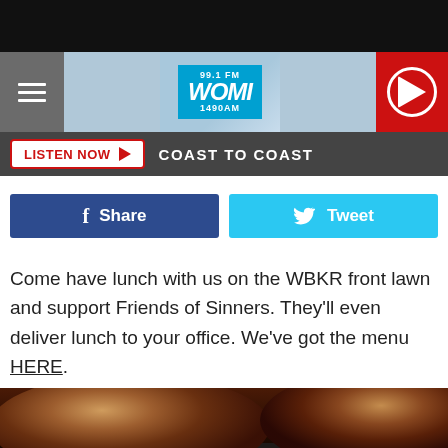[Figure (screenshot): Black top bar of mobile app]
[Figure (screenshot): Navigation bar with hamburger menu, WOMI 99.1FM 1490AM logo and red play button]
[Figure (screenshot): Listen Now bar with Coast to Coast text]
[Figure (screenshot): Facebook Share and Twitter Tweet social buttons]
Come have lunch with us on the WBKR front lawn and support Friends of Sinners. They'll even deliver lunch to your office. We've got the menu HERE.
[Figure (photo): Close-up photo of meat/burgers grilling on a fire grill with flames visible]